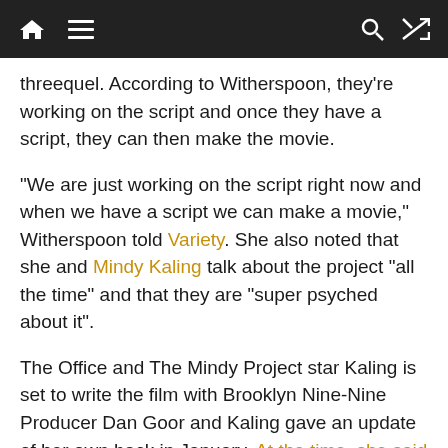[navigation bar with home, menu, search, shuffle icons]
threequel. According to Witherspoon, they're working on the script and once they have a script, they can then make the movie.
“We are just working on the script right now and when we have a script we can make a movie,” Witherspoon told Variety. She also noted that she and Mindy Kaling talk about the project “all the time” and that they are “super psyched about it”.
The Office and The Mindy Project star Kaling is set to write the film with Brooklyn Nine-Nine Producer Dan Goor and Kaling gave an update of her own back in January. At the time, she said the idea situation would be to shoot the film in 2021 with an eye toward the 2022 release date, but since that doesn’t appear to have happened, it’s unclear what